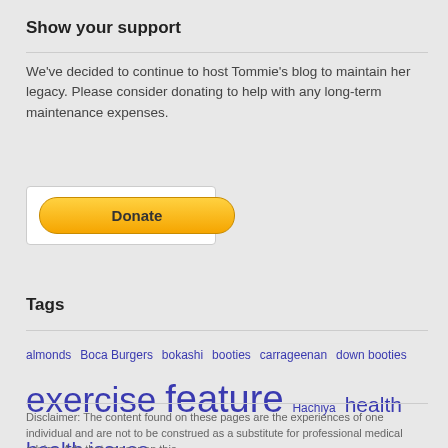Show your support
We've decided to continue to host Tommie's blog to maintain her legacy. Please consider donating to help with any long-term maintenance expenses.
[Figure (other): PayPal Donate button]
Tags
almonds Boca Burgers bokashi booties carrageenan down booties exercise feature Hachiya health health issues Hichaya irish moss nectarine overt fat pineapple plum Raw Food Lifestyle raw vegan satellite smoothie Twinkle vegetarian waterbed watermelon
Disclaimer: The content found on these pages are the experiences of one individual and are not to be construed as a substitute for professional medical advice. Ads that appear on this